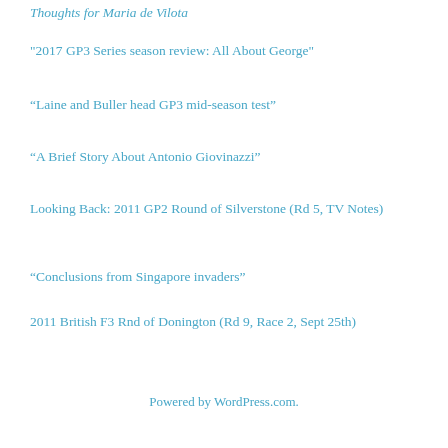Thoughts for Maria de Vilota
"2017 GP3 Series season review: All About George"
“Laine and Buller head GP3 mid-season test”
“A Brief Story About Antonio Giovinazzi”
Looking Back: 2011 GP2 Round of Silverstone (Rd 5, TV Notes)
“Conclusions from Singapore invaders”
2011 British F3 Rnd of Donington (Rd 9, Race 2, Sept 25th)
Powered by WordPress.com.